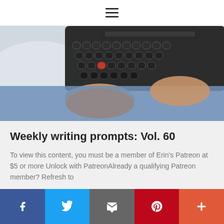≡
[Figure (photo): Person typing on a vintage black typewriter, wearing blue jeans, close-up overhead view of hands on keyboard.]
Weekly writing prompts: Vol. 60
To view this content, you must be a member of Erin's Patreon at $5 or more Unlock with PatreonAlready a qualifying Patreon member? Refresh to
[Figure (photo): Partial view of another blog post image, blurred, mostly orange and grey tones.]
Social share bar: Facebook, Twitter, Email, Pinterest, More